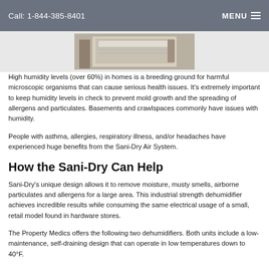Call: 1-844-385-8401   MENU
[Figure (photo): Partial view of a white dehumidifier unit in a basement or crawlspace setting]
High humidity levels (over 60%) in homes is a breeding ground for harmful microscopic organisms that can cause serious health issues. It's extremely important to keep humidity levels in check to prevent mold growth and the spreading of allergens and particulates. Basements and crawlspaces commonly have issues with humidity.
People with asthma, allergies, respiratory illness, and/or headaches have experienced huge benefits from the Sani-Dry Air System.
How the Sani-Dry Can Help
Sani-Dry's unique design allows it to remove moisture, musty smells, airborne particulates and allergens for a large area. This industrial strength dehumidifier achieves incredible results while consuming the same electrical usage of a small, retail model found in hardware stores.
The Property Medics offers the following two dehumidifiers. Both units include a low-maintenance, self-draining design that can operate in low temperatures down to 40°F.